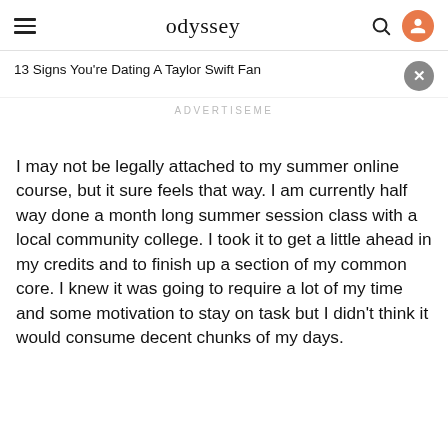odyssey
13 Signs You're Dating A Taylor Swift Fan
ADVERTISEME
I may not be legally attached to my summer online course, but it sure feels that way. I am currently half way done a month long summer session class with a local community college. I took it to get a little ahead in my credits and to finish up a section of my common core. I knew it was going to require a lot of my time and some motivation to stay on task but I didn't think it would consume decent chunks of my days.